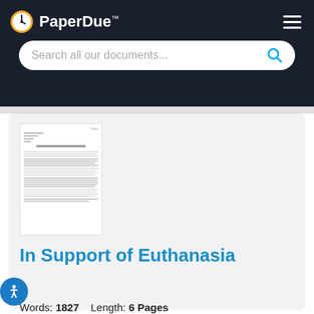PaperDue™
[Figure (screenshot): Search bar with placeholder text 'Search all our documents...' and a blue search icon on a dark navy background header]
[Figure (photo): Thumbnail preview of a multi-page research paper document]
In Support of Euthanasia
Words: 1827   Length: 6 Pages
Document Type: Research Paper   Paper #: 27114240